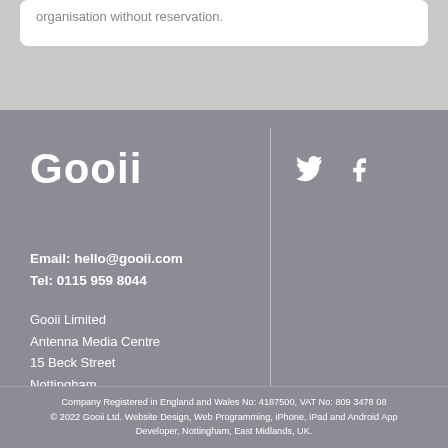organisation without reservation.
[Figure (logo): Gooii company logo in white bold text]
Email: hello@gooii.com
Tel: 0115 959 8044
Gooii Limited
Antenna Media Centre
15 Beck Street
Nottingham
NG1 1EQ
Company Registered in England and Wales No: 4187500, VAT No: 809 3478 08
© 2022 Gooii Ltd. Website Design, Web Programming, iPhone, iPad and Android App Developer, Nottingham, East Midlands, UK.